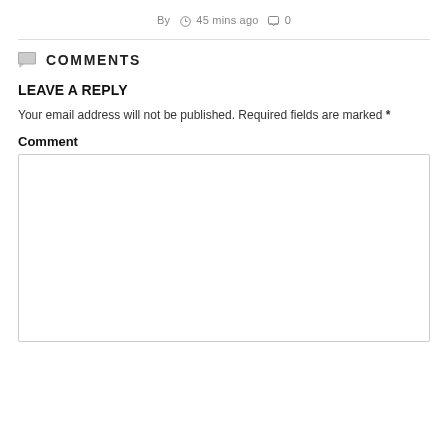By  ⏱ 45 mins ago  ☐ 0
COMMENTS
LEAVE A REPLY
Your email address will not be published. Required fields are marked *
Comment